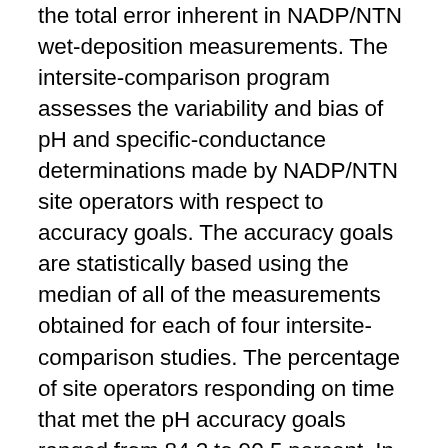the total error inherent in NADP/NTN wet-deposition measurements. The intersite-comparison program assesses the variability and bias of pH and specific-conductance determinations made by NADP/NTN site operators with respect to accuracy goals. The accuracy goals are statistically based using the median of all of the measurements obtained for each of four intersite-comparison studies. The percentage of site operators responding on time that met the pH accuracy goals ranged from 84.2 to 90.5 percent. In these same four intersite-comparison studies, 88.9 to 99.0 percent of the site operators met the accuracy goals for specific conductance. The blind-audit program evaluates the effects of routine sample handling, processing, and shipping on the chemistry of weekly precipitation samples. The